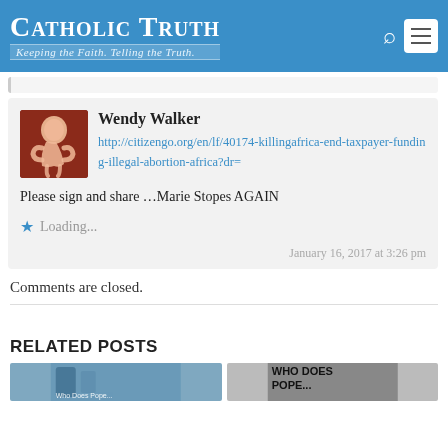Catholic Truth – Keeping the Faith. Telling the Truth.
Wendy Walker
http://citizengo.org/en/lf/40174-killingafrica-end-taxpayer-funding-illegal-abortion-africa?dr=
Please sign and share …Marie Stopes AGAIN
Loading...
January 16, 2017 at 3:26 pm
Comments are closed.
RELATED POSTS